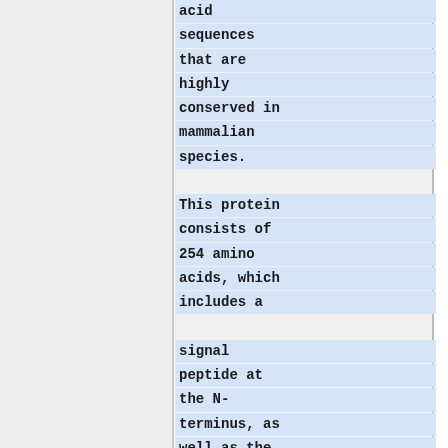acid sequences that are highly conserved in mammalian species. This protein consists of 254 amino acids, which includes a signal peptide at the N-terminus, as well as the c-terminus. The protein also includes two asparagines